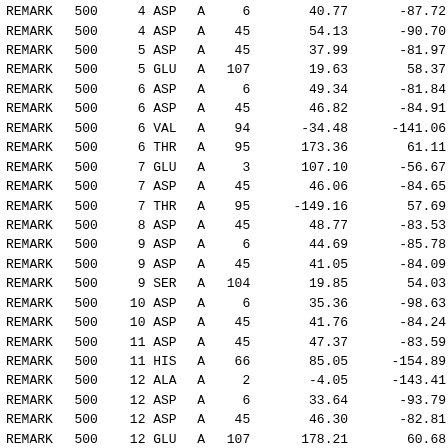| KEYWORD | CODE | MODEL | RES | CHAIN | SEQNO | VALUE1 | VALUE2 |
| --- | --- | --- | --- | --- | --- | --- | --- |
| REMARK | 500 | 4 | ASP | A | 6 | 40.77 | -87.72 |
| REMARK | 500 | 4 | ASP | A | 45 | 54.13 | -90.70 |
| REMARK | 500 | 5 | ASP | A | 45 | 37.99 | -81.97 |
| REMARK | 500 | 5 | GLU | A | 107 | 19.63 | 58.37 |
| REMARK | 500 | 6 | ASP | A | 6 | 49.34 | -81.84 |
| REMARK | 500 | 6 | ASP | A | 45 | 46.82 | -84.91 |
| REMARK | 500 | 6 | VAL | A | 94 | -34.48 | -141.06 |
| REMARK | 500 | 6 | THR | A | 95 | 173.36 | 61.11 |
| REMARK | 500 | 7 | GLU | A | 3 | 107.10 | -56.67 |
| REMARK | 500 | 7 | ASP | A | 45 | 46.06 | -84.65 |
| REMARK | 500 | 7 | THR | A | 95 | -149.16 | 57.69 |
| REMARK | 500 | 8 | ASP | A | 45 | 48.77 | -83.53 |
| REMARK | 500 | 9 | ASP | A | 6 | 44.69 | -85.78 |
| REMARK | 500 | 9 | ASP | A | 45 | 41.05 | -84.09 |
| REMARK | 500 | 9 | SER | A | 104 | 19.85 | 54.03 |
| REMARK | 500 | 10 | ASP | A | 6 | 35.36 | -98.63 |
| REMARK | 500 | 10 | ASP | A | 45 | 41.76 | -84.24 |
| REMARK | 500 | 11 | ASP | A | 45 | 47.37 | -83.59 |
| REMARK | 500 | 11 | HIS | A | 66 | 85.05 | -154.89 |
| REMARK | 500 | 12 | ALA | A | 2 | -4.05 | -143.41 |
| REMARK | 500 | 12 | ASP | A | 6 | 33.64 | -93.79 |
| REMARK | 500 | 12 | ASP | A | 45 | 46.30 | -82.81 |
| REMARK | 500 | 12 | GLU | A | 107 | 178.21 | 60.68 |
| REMARK | 500 | 13 | LYS | A | 7 | 56.92 | -103.75 |
| REMARK | 500 | 13 | ASP | A | 45 | 49.52 | -89.03 |
| REMARK | 500 | 14 | ASP | A | 6 | 49.85 | -82.68 |
| REMARK | 500 | 14 | ASP | A | 45 | 44.70 | -85.38 |
| REMARK | 500 | 15 | ASP | A | 6 | 0.18 | 57.92 |
| REMARK | 500 | 15 | LYS | A | 7 | 166.80 | 55.02 |
| REMARK | 500 | 15 | ASP | A | 45 | 43.83 | -87.17 |
| REMARK | 500 | 16 | ALA | A | 106 | 62.13 | -118.22 |